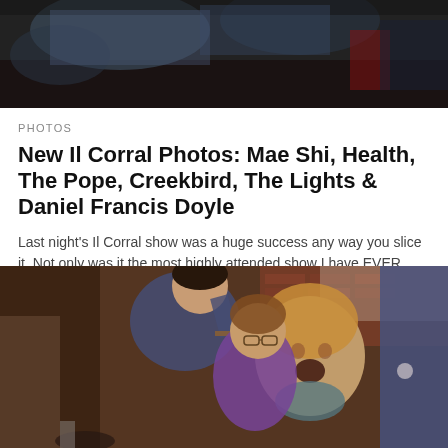[Figure (photo): Dark photo of people at a concert/show, partial upper portion visible]
PHOTOS
New Il Corral Photos: Mae Shi, Health, The Pope, Creekbird, The Lights & Daniel Francis Doyle
Last night's Il Corral show was a huge success any way you slice it. Not only was it the most highly attended show I have EVER hosted, bu...
NOVEMBER 14, 2006
[Figure (photo): Photo of people at a music show/party indoors, showing excited crowd including a woman with short blonde hair with mouth open, a person in a purple shirt with glasses, and a man in a blue t-shirt. Brick wall visible in background.]